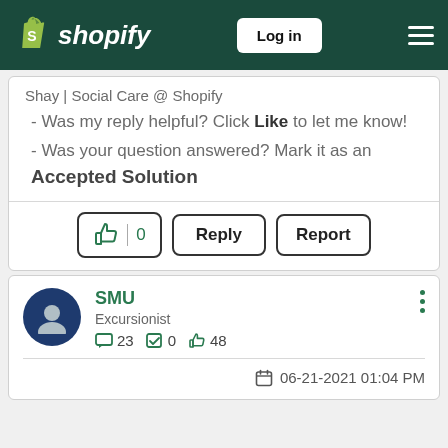Shopify — Log in
Shay | Social Care @ Shopify
- Was my reply helpful? Click Like to let me know!
- Was your question answered? Mark it as an Accepted Solution
0 likes · Reply · Report
SMU
Excursionist
23 posts · 0 solutions · 48 likes
06-21-2021 01:04 PM